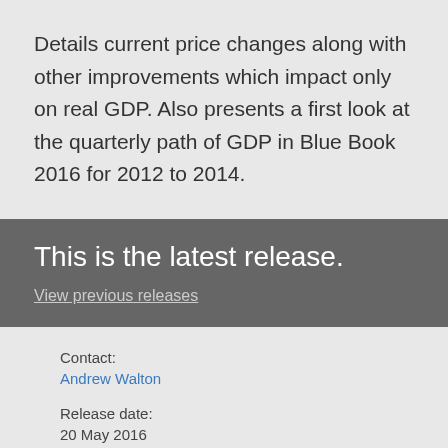Details current price changes along with other improvements which impact only on real GDP. Also presents a first look at the quarterly path of GDP in Blue Book 2016 for 2012 to 2014.
This is the latest release.
View previous releases
Contact:
Andrew Walton
Release date:
20 May 2016